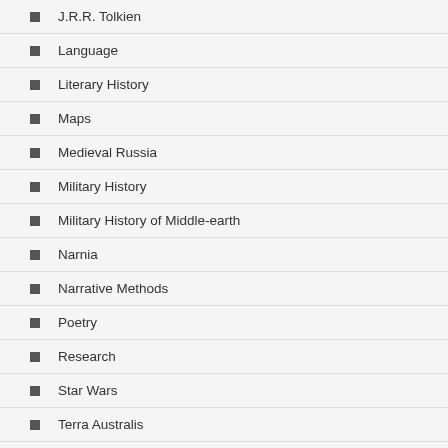J.R.R. Tolkien
Language
Literary History
Maps
Medieval Russia
Military History
Military History of Middle-earth
Narnia
Narrative Methods
Poetry
Research
Star Wars
Terra Australis
The Rohirrim
Theatre and Performance